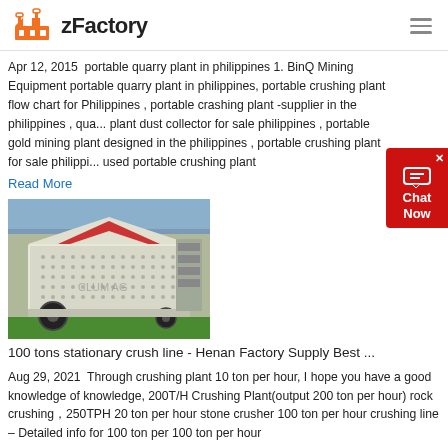zFactory
Apr 12, 2015  portable quarry plant in philippines 1. BinQ Mining Equipment portable quarry plant in philippines, portable crushing plant flow chart for Philippines , portable crashing plant -supplier in the philippines , qua... plant dust collector for sale philippines , portable gold mining plant designed in the philippines , portable crushing plant for sale philippi... used portable crushing plant
Read More
[Figure (photo): Photo of a large industrial impact crusher / stationary crushing machine in a factory warehouse setting. The machine is cream/white colored with a red interior hopper visible at top.]
100 tons stationary crush line - Henan Factory Supply Best ...
Aug 29, 2021  Through crushing plant 10 ton per hour, I hope you have a good knowledge of knowledge, 200T/H Crushing Plant(output 200 ton per hour) rock crushing，250TPH 20 ton per hour stone crusher 100 ton per hour crushing line – Detailed info for 100 ton per 100 ton per hour